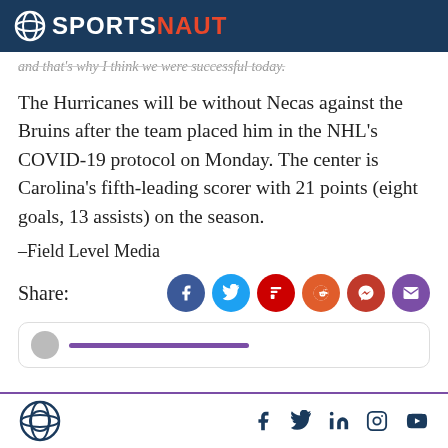SPORTSNAUT
and that's why I think we were successful today.
The Hurricanes will be without Necas against the Bruins after the team placed him in the NHL's COVID-19 protocol on Monday. The center is Carolina's fifth-leading scorer with 21 points (eight goals, 13 assists) on the season.
–Field Level Media
Share:
Sportsnaut footer with social icons: Facebook, Twitter, LinkedIn, Instagram, YouTube